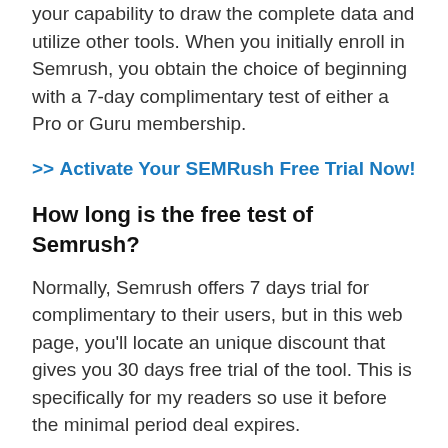your capability to draw the complete data and utilize other tools. When you initially enroll in Semrush, you obtain the choice of beginning with a 7-day complimentary test of either a Pro or Guru membership.
>> Activate Your SEMRush Free Trial Now!
How long is the free test of Semrush?
Normally, Semrush offers 7 days trial for complimentary to their users, but in this web page, you'll locate an unique discount that gives you 30 days free trial of the tool. This is specifically for my readers so use it before the minimal period deal expires.